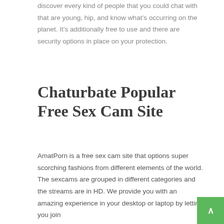discover every kind of people that you could chat with that are young, hip, and know what's occurring on the planet. It's additionally free to use and there are security options in place on your protection.
Chaturbate Popular Free Sex Cam Site
AmatPorn is a free sex cam site that options super scorching fashions from different elements of the world. The sexcams are grouped in different categories and the streams are in HD. We provide you with an amazing experience in your desktop or laptop by letting you join